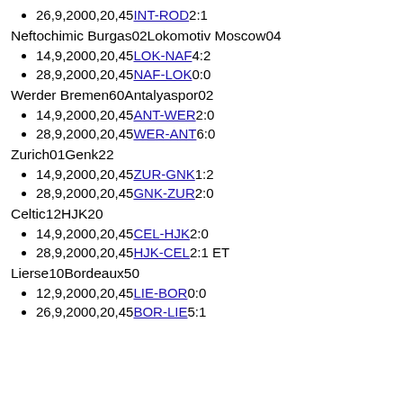26,9,2000,20,45INT-ROD2:1
Neftochimic Burgas02Lokomotiv Moscow04
14,9,2000,20,45LOK-NAF4:2
28,9,2000,20,45NAF-LOK0:0
Werder Bremen60Antalyaspor02
14,9,2000,20,45ANT-WER2:0
28,9,2000,20,45WER-ANT6:0
Zurich01Genk22
14,9,2000,20,45ZUR-GNK1:2
28,9,2000,20,45GNK-ZUR2:0
Celtic12HJK20
14,9,2000,20,45CEL-HJK2:0
28,9,2000,20,45HJK-CEL2:1 ET
Lierse10Bordeaux50
12,9,2000,20,45LIE-BOR0:0
26,9,2000,20,45BOR-LIE5:1